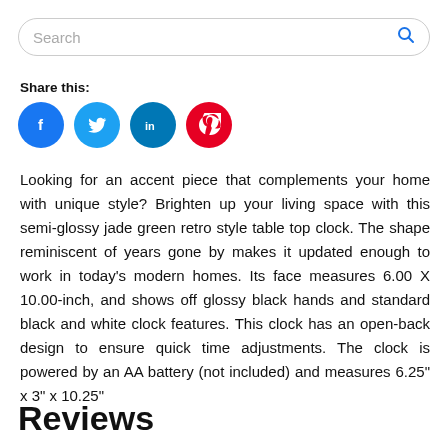Search
Share this:
[Figure (infographic): Four social media share buttons: Facebook (blue circle with f), Twitter (light blue circle with bird), LinkedIn (teal circle with in), Pinterest (red circle with P)]
Looking for an accent piece that complements your home with unique style? Brighten up your living space with this semi-glossy jade green retro style table top clock. The shape reminiscent of years gone by makes it updated enough to work in today's modern homes. Its face measures 6.00 X 10.00-inch, and shows off glossy black hands and standard black and white clock features. This clock has an open-back design to ensure quick time adjustments. The clock is powered by an AA battery (not included) and measures 6.25" x 3" x 10.25"
Reviews